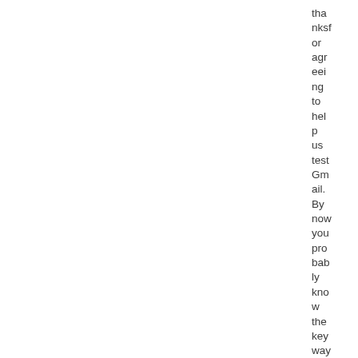thanksfor agreeing to help us test Gmail. By now you probably know the keyways in